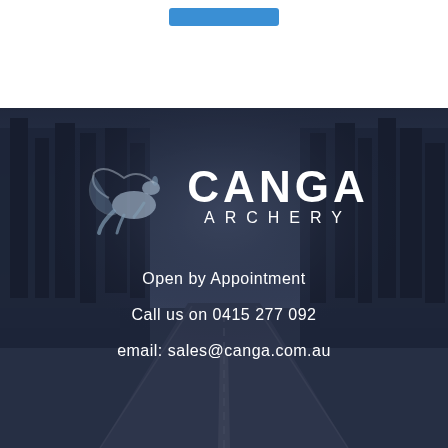[Figure (logo): Blue button/bar at top of page on white background]
[Figure (photo): Dark atmospheric photo of a road receding into foggy forest, overlaid with Canga Archery logo (kangaroo silhouette + CANGA ARCHERY text) and contact information]
Open by Appointment
Call us on 0415 277 092
email: sales@canga.com.au